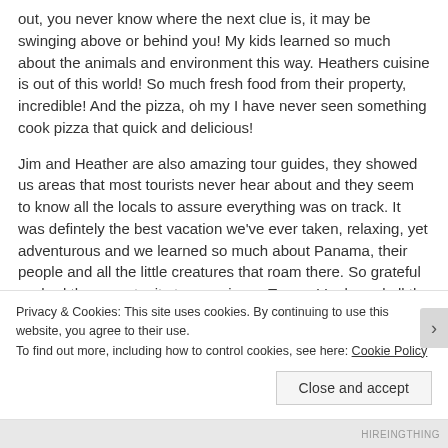out, you never know where the next clue is, it may be swinging above or behind you! My kids learned so much about the animals and environment this way. Heathers cuisine is out of this world! So much fresh food from their property, incredible! And the pizza, oh my I have never seen something cook pizza that quick and delicious!
Jim and Heather are also amazing tour guides, they showed us areas that most tourists never hear about and they seem to know all the locals to assure everything was on track. It was defintely the best vacation we've ever taken, relaxing, yet adventurous and we learned so much about Panama, their people and all the little creatures that roam there. So grateful we had the opportunity to experience Tesoro Verde and all the adventures they took us on! We felt so comfortable and secure with Jim and Heather roaming through Panama and
Privacy & Cookies: This site uses cookies. By continuing to use this website, you agree to their use.
To find out more, including how to control cookies, see here: Cookie Policy
Close and accept